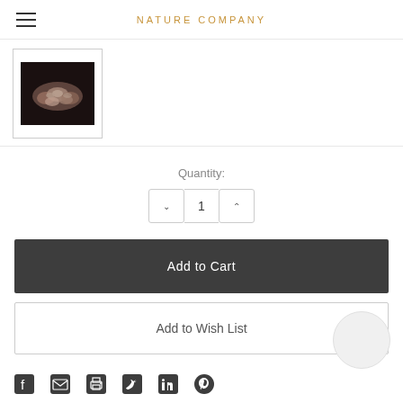NATURE COMPANY
[Figure (photo): Thumbnail image of cowrie shells on black background]
Quantity:
1
Add to Cart
Add to Wish List
[Figure (other): Social media share icons: Facebook, Email, Print, Twitter, LinkedIn, Pinterest]